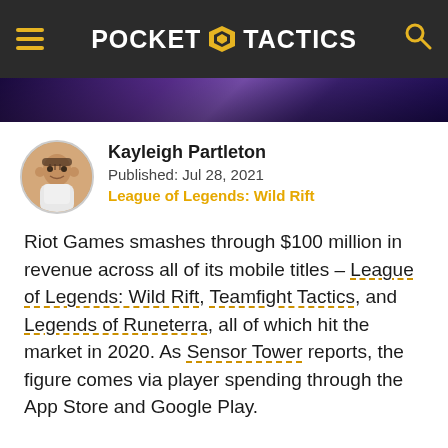POCKET TACTICS
[Figure (photo): Game banner strip showing a dark purple/blue fantasy game scene]
Kayleigh Partleton
Published: Jul 28, 2021
League of Legends: Wild Rift
Riot Games smashes through $100 million in revenue across all of its mobile titles – League of Legends: Wild Rift, Teamfight Tactics, and Legends of Runeterra, all of which hit the market in 2020. As Sensor Tower reports, the figure comes via player spending through the App Store and Google Play.